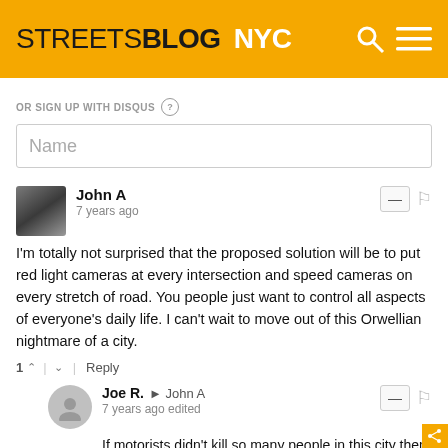STREETSBLOG NYC
OR SIGN UP WITH DISQUS
Name
John A
7 years ago
I'm totally not surprised that the proposed solution will be to put red light cameras at every intersection and speed cameras on every stretch of road. You people just want to control all aspects of everyone's daily life. I can't wait to move out of this Orwellian nightmare of a city.
1 ^ | v Reply
Joe R. → John A
7 years ago edited
If motorists didn't kill so many people in this city then perhaps these admittedly draconian solutions wouldn't be proposed. The solution is simple. I call on all motorists to